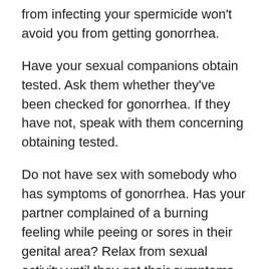from infecting your spermicide won't avoid you from getting gonorrhea.
Have your sexual companions obtain tested. Ask them whether they've been checked for gonorrhea. If they have not, speak with them concerning obtaining tested.
Do not have sex with somebody who has symptoms of gonorrhea. Has your partner complained of a burning feeling while peeing or sores in their genital area? Relax from sexual activity until they get their symptoms inspected and also you need to obtain examined as well.
Obtain normal screenings. Obtain checked for gonorrhea once a year if you're: